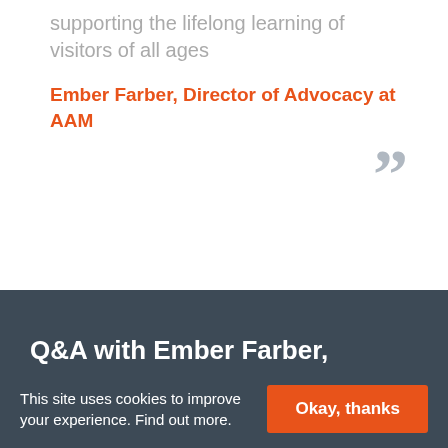supporting the lifelong learning of visitors of all ages
Ember Farber, Director of Advocacy at AAM
Q&A with Ember Farber, Director of Advocacy at AAM
This site uses cookies to improve your experience. Find out more.